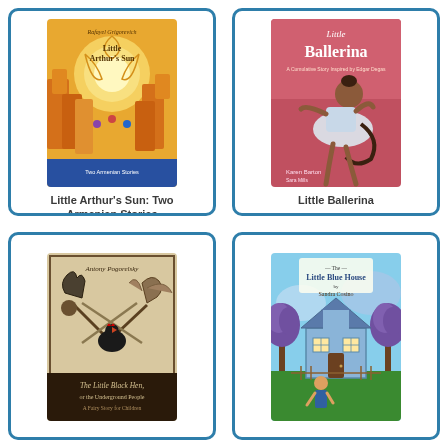[Figure (illustration): Book cover for 'Little Arthur's Sun: Two Armenian Stories' showing colorful orange blocks/buildings with swirling sun and small figures]
Little Arthur's Sun: Two Armenian Stories
[Figure (illustration): Book cover for 'Little Ballerina' showing an illustrated young ballerina in a white tutu on a pink/red background]
Little Ballerina
[Figure (illustration): Book cover for 'The Little Black Hen, of the Underground People' showing black and white illustration of figures with crossed swords and a black hen]
[Figure (illustration): Book cover for 'The Little Blue House' by Sandra Cosino showing illustrated children and a blue house with purple flowering trees]